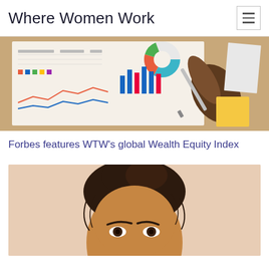Where Women Work
[Figure (photo): Person holding a pen pointing at financial charts and graphs on paper on a wooden desk, viewed from above]
Forbes features WTW's global Wealth Equity Index
[Figure (photo): Close-up portrait of a woman with dark hair pulled back, looking up at the camera, against a light beige background]